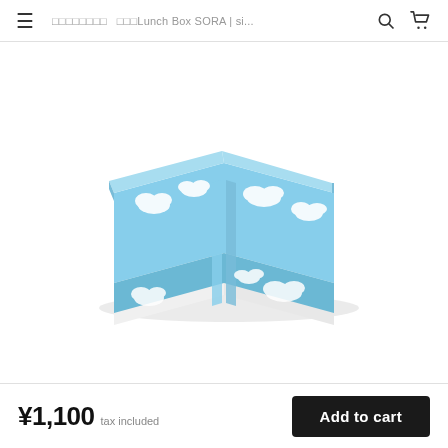□□□□□□□□  □□□Lunch Box SORA | si...
[Figure (photo): A rectangular lunch box with a light blue background decorated with white cloud patterns. The box has two sections held together by a light blue elastic band. The overall design is cute and sky-themed (SORA means sky in Japanese).]
¥1,100  tax included
Add to cart